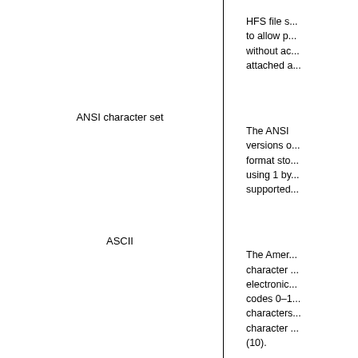HFS file s... to allow p... without ac... attached a...
ANSI character set
The ANSI... versions o... format sto... using 1 by... supported...
ASCII
The Amer... character ... electronic... codes 0–1... characters... character ... (10).
Bookmarks
Forensic B... or section... Bookmark...
BpB
—ytes per... the numbe...